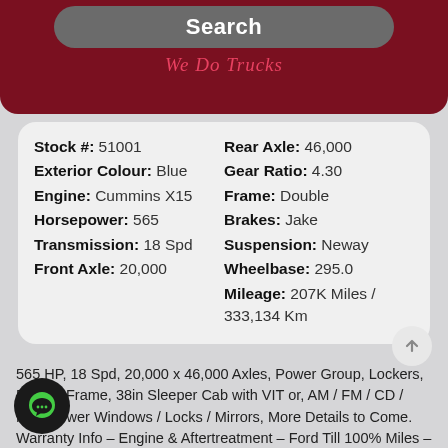[Figure (screenshot): Header banner with dark red background, a grey rounded Search button, and 'We Do Trucks' italic red tagline]
| Stock #: 51001 | Rear Axle: 46,000 |
| Exterior Colour: Blue | Gear Ratio: 4.30 |
| Engine: Cummins X15 | Frame: Double |
|  | Brakes: Jake |
| Horsepower: 565 | Suspension: Neway |
| Transmission: 18 Spd | Wheelbase: 295.0 |
| Front Axle: 20,000 | Mileage: 207K Miles / 333,134 Km |
565 HP, 18 Spd, 20,000 x 46,000 Axles, Power Group, Lockers, Double Frame, 38in Sleeper Cab with VIT or, AM / FM / CD / Nav, Power Windows / Locks / Mirrors, More Details to Come. Warranty Info – Engine & Aftertreatment – Ford Till 100% Miles – 2023 – Att...